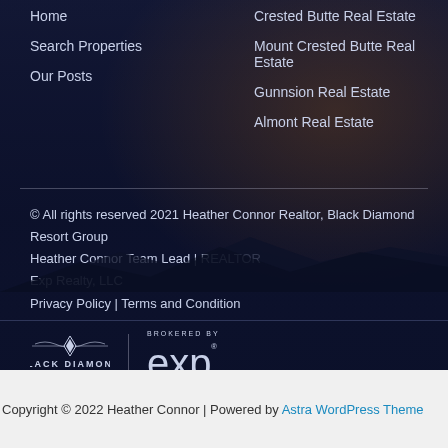Home
Search Properties
Our Posts
Crested Butte Real Estate
Mount Crested Butte Real Estate
Gunnsion Real Estate
Almont Real Estate
© All rights reserved 2021 Heather Connor Realtor, Black Diamond Resort Group
Heather Connor Team Lead | REALTOR
Exp Realty, LLC
Privacy Policy | Terms and Condition
[Figure (logo): Black Diamond Resort Group logo alongside Brokered By eXp Realty logo]
Copyright © 2022 Heather Connor | Powered by Astra WordPress Theme